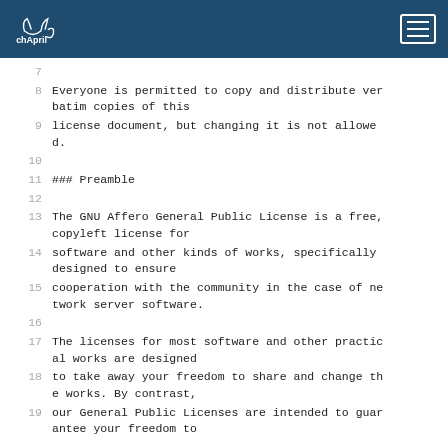chApril [logo] [menu]
7
8  Everyone is permitted to copy and distribute verbatim copies of this
9  license document, but changing it is not allowed.
10
11  ### Preamble
12
13  The GNU Affero General Public License is a free, copyleft license for
14  software and other kinds of works, specifically designed to ensure
15  cooperation with the community in the case of network server software.
16
17  The licenses for most software and other practical works are designed
18  to take away your freedom to share and change the works. By contrast,
19  our General Public Licenses are intended to guarantee your freedom to